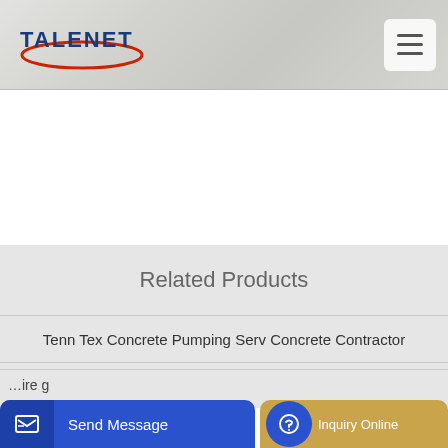TALENET
Related Products
Tenn Tex Concrete Pumping Serv Concrete Contractor
concrete mixer franchise opportunities
Send Message  Inquiry Online